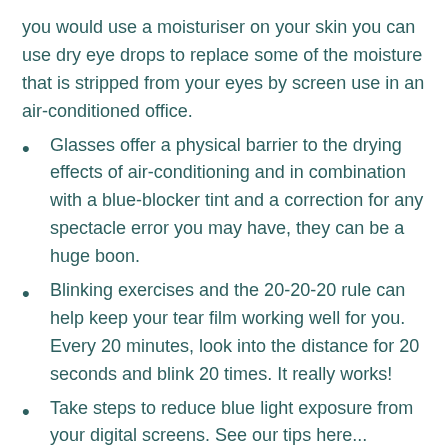you would use a moisturiser on your skin you can use dry eye drops to replace some of the moisture that is stripped from your eyes by screen use in an air-conditioned office.
Glasses offer a physical barrier to the drying effects of air-conditioning and in combination with a blue-blocker tint and a correction for any spectacle error you may have, they can be a huge boon.
Blinking exercises and the 20-20-20 rule can help keep your tear film working well for you. Every 20 minutes, look into the distance for 20 seconds and blink 20 times. It really works!
Take steps to reduce blue light exposure from your digital screens. See our tips here...